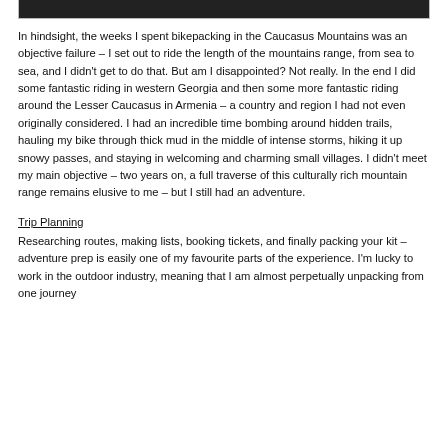[Figure (photo): Partial dark image strip at the top of the page, cropped]
In hindsight, the weeks I spent bikepacking in the Caucasus Mountains was an objective failure – I set out to ride the length of the mountains range, from sea to sea, and I didn't get to do that. But am I disappointed? Not really. In the end I did some fantastic riding in western Georgia and then some more fantastic riding around the Lesser Caucasus in Armenia – a country and region I had not even originally considered. I had an incredible time bombing around hidden trails, hauling my bike through thick mud in the middle of intense storms, hiking it up snowy passes, and staying in welcoming and charming small villages. I didn't meet my main objective – two years on, a full traverse of this culturally rich mountain range remains elusive to me – but I still had an adventure.
Trip Planning
Researching routes, making lists, booking tickets, and finally packing your kit – adventure prep is easily one of my favourite parts of the experience. I'm lucky to work in the outdoor industry, meaning that I am almost perpetually unpacking from one journey